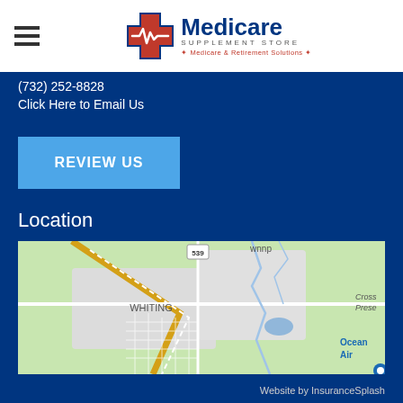[Figure (logo): Medicare Supplement Store logo with red/blue cross and heartbeat symbol, text reads Medicare SUPPLEMENT STORE, Medicare & Retirement Solutions]
(732) 252-8828
Click Here to Email Us
REVIEW US
Location
[Figure (map): Google Maps screenshot showing Whiting, NJ area with route 539, Cross roads Preserve, and Ocean Air labels visible]
Website by InsuranceSplash